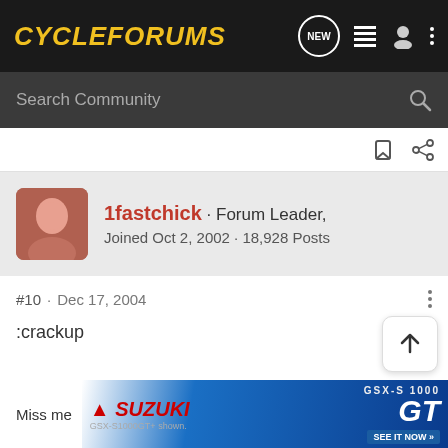CycleForums
Search Community
1fastchick · Forum Leader, Joined Oct 2, 2002 · 18,928 Posts
#10 · Dec 17, 2004
:crackup
Miss me